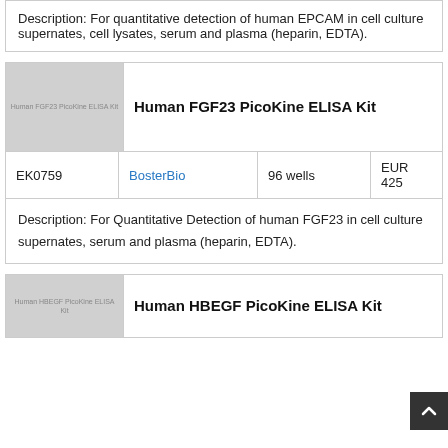Description: For quantitative detection of human EPCAM in cell culture supernates, cell lysates, serum and plasma (heparin, EDTA).
[Figure (photo): Product image placeholder for Human FGF23 PicoKine ELISA Kit]
Human FGF23 PicoKine ELISA Kit
| Catalog | Brand | Size | Price |
| --- | --- | --- | --- |
| EK0759 | BosterBio | 96 wells | EUR 425 |
Description: For Quantitative Detection of human FGF23 in cell culture supernates, serum and plasma (heparin, EDTA).
[Figure (photo): Product image placeholder for Human HBEGF PicoKine ELISA Kit]
Human HBEGF PicoKine ELISA Kit